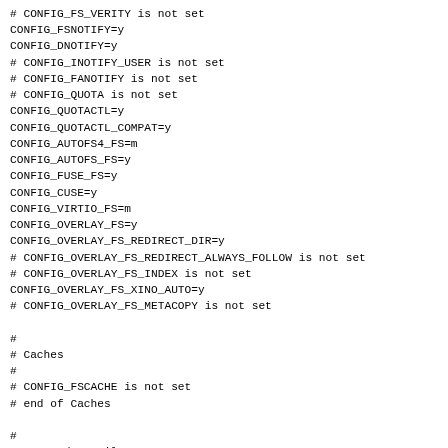# CONFIG_FS_VERITY is not set
CONFIG_FSNOTIFY=y
CONFIG_DNOTIFY=y
# CONFIG_INOTIFY_USER is not set
# CONFIG_FANOTIFY is not set
# CONFIG_QUOTA is not set
CONFIG_QUOTACTL=y
CONFIG_QUOTACTL_COMPAT=y
CONFIG_AUTOFS4_FS=m
CONFIG_AUTOFS_FS=y
CONFIG_FUSE_FS=y
CONFIG_CUSE=y
CONFIG_VIRTIO_FS=m
CONFIG_OVERLAY_FS=y
CONFIG_OVERLAY_FS_REDIRECT_DIR=y
# CONFIG_OVERLAY_FS_REDIRECT_ALWAYS_FOLLOW is not set
# CONFIG_OVERLAY_FS_INDEX is not set
CONFIG_OVERLAY_FS_XINO_AUTO=y
# CONFIG_OVERLAY_FS_METACOPY is not set

#
# Caches
#
# CONFIG_FSCACHE is not set
# end of Caches

#
# CD-ROM/DVD Filesystems
#
CONFIG_ISO9660_FS=y